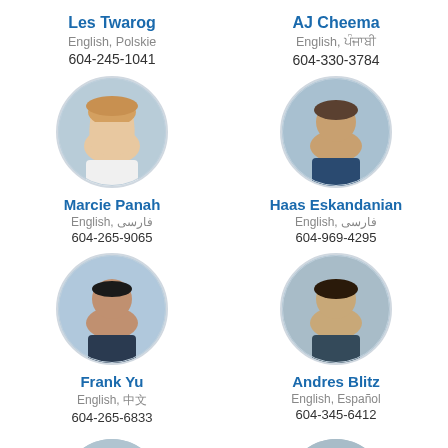Les Twarog
English, Polskie
604-245-1041
AJ Cheema
English, ਪੰਜਾਬੀ
604-330-3784
[Figure (photo): Circular portrait photo of Marcie Panah, a woman with blonde hair]
Marcie Panah
English, فارسی
604-265-9065
[Figure (photo): Circular portrait photo of Haas Eskandanian, a man]
Haas Eskandanian
English, فارسی
604-969-4295
[Figure (photo): Circular portrait photo of Frank Yu, an Asian man smiling]
Frank Yu
English, 中文
604-265-6833
[Figure (photo): Circular portrait photo of Andres Blitz, a man]
Andres Blitz
English, Español
604-345-6412